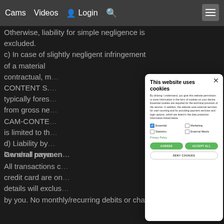Cams  Videos  Login
Otherwise, liability for simple negligence is excluded. c) In case of slightly negligent infringement of a material contractual, m... CONTENT S... typically fores... from gross ne... CAM-CONTE... is limited to th...
[Figure (screenshot): Cookie consent modal dialog on a dark website. Title: 'This website uses cookies'. Description text about cookie permissions. Checkboxes for Essential (checked), Marketing, Statistics, External Media. Privacy Policy link. Two green buttons: AGREED and ACCEPT ALL. One outlined button: DENY COOKIES. Close X button top-right.]
d) Liability by... law shall rema...
General paymen...
All transactions c... credit card are on... details will exclus... by you. No monthly/recurring debits or charges will take